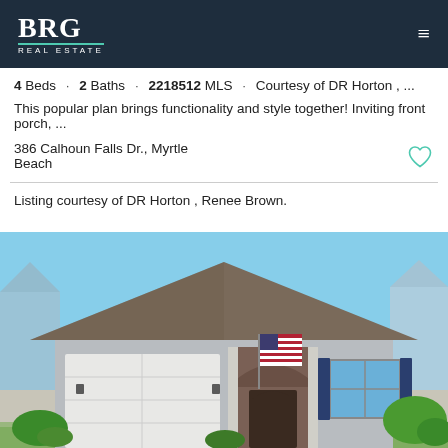BRG REAL ESTATE
4 Beds · 2 Baths · 2218512 MLS · Courtesy of DR Horton , ...
This popular plan brings functionality and style together! Inviting front porch, ...
386 Calhoun Falls Dr., Myrtle Beach
Listing courtesy of DR Horton , Renee Brown.
[Figure (photo): Exterior photo of a single-story suburban home with grey stucco finish, white garage door, arched entry porch with American flag, and blue shutters on windows. Clear blue sky background with green landscaping.]